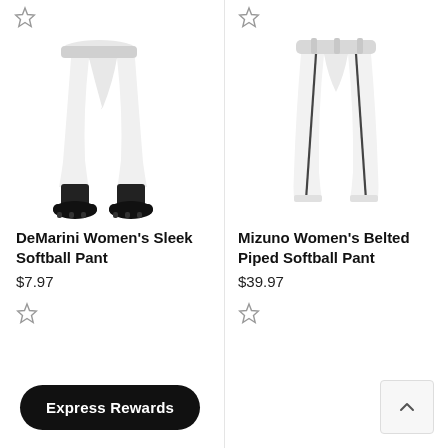[Figure (photo): DeMarini Women's Sleek Softball Pant product photo showing white softball pants with black cleats and socks]
[Figure (photo): Mizuno Women's Belted Piped Softball Pant product photo showing white softball pants with dark piping stripe]
DeMarini Women's Sleek Softball Pant
$7.97
Mizuno Women's Belted Piped Softball Pant
$39.97
Express Rewards